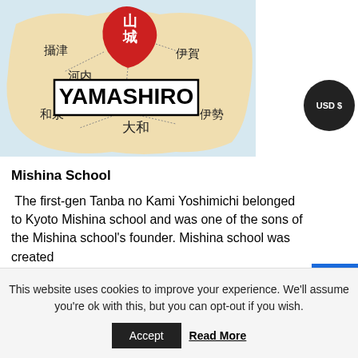[Figure (map): Historical map of Japanese provinces with Yamashiro region highlighted in red, showing surrounding provinces labeled in kanji: 攝津, 河内, 和泉, 大和, 伊賀, 伊勢, 山城. A bold text label reads YAMASHIRO in the center.]
Mishina School
The first-gen Tanba no Kami Yoshimichi belonged to Kyoto Mishina school and was one of the sons of the Mishina school's founder. Mishina school was created
This website uses cookies to improve your experience. We'll assume you're ok with this, but you can opt-out if you wish.
Accept  Read More